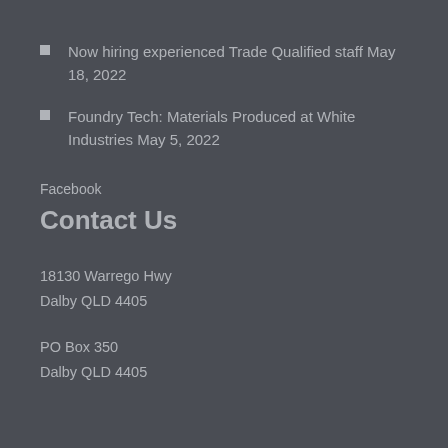Now hiring experienced Trade Qualified staff May 18, 2022
Foundry Tech: Materials Produced at White Industries May 5, 2022
Facebook
Contact Us
18130 Warrego Hwy
Dalby QLD 4405
PO Box 350
Dalby QLD 4405